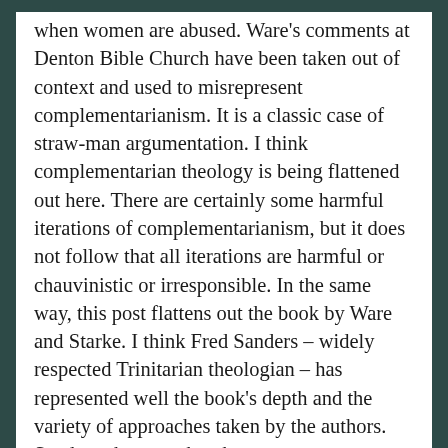when women are abused. Ware's comments at Denton Bible Church have been taken out of context and used to misrepresent complementarianism. It is a classic case of straw-man argumentation. I think complementarian theology is being flattened out here. There are certainly some harmful iterations of complementarianism, but it does not follow that all iterations are harmful or chauvinistic or irresponsible. In the same way, this post flattens out the book by Ware and Starke. I think Fred Sanders – widely respected Trinitarian theologian – has represented well the book's depth and the variety of approaches taken by the authors. Sanders observes that the